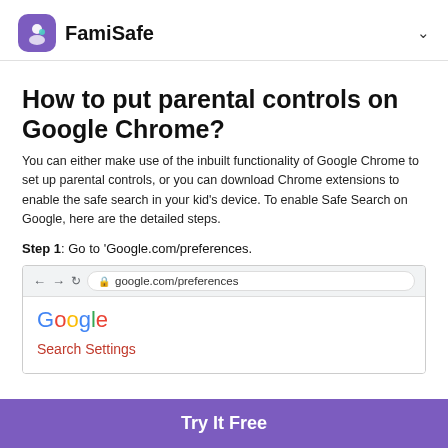FamiSafe
How to put parental controls on Google Chrome?
You can either make use of the inbuilt functionality of Google Chrome to set up parental controls, or you can download Chrome extensions to enable the safe search in your kid's device. To enable Safe Search on Google, here are the detailed steps.
Step 1: Go to 'Google.com/preferences.
[Figure (screenshot): Browser screenshot showing address bar with google.com/preferences and Google search settings page with 'Search Settings' link visible.]
Try It Free